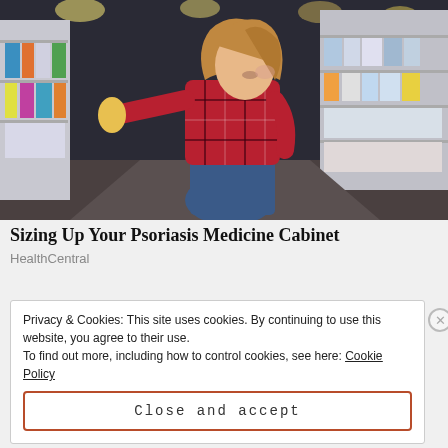[Figure (photo): Woman in a plaid shirt crouching in a pharmacy/drugstore aisle, examining a product from the shelf. Store shelves with various products visible in background.]
Sizing Up Your Psoriasis Medicine Cabinet
HealthCentral
Privacy & Cookies: This site uses cookies. By continuing to use this website, you agree to their use.
To find out more, including how to control cookies, see here: Cookie Policy
Close and accept